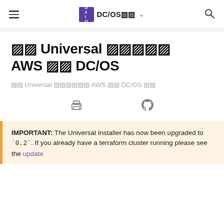DC/OS文書
在 Universal 安装程序上 AWS 部署 DC/OS
在 Universal 安装程序上 AWS 部署 DC/OS 文档
IMPORTANT: The Universal Installer has now been upgraded to `0.2`. If you already have a terraform cluster running please see the update